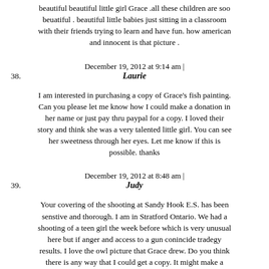beautiful beautiful little girl Grace .all these children are soo beuatiful . beautiful little babies just sitting in a classroom with their friends trying to learn and have fun. how american and innocent is that picture .
December 19, 2012 at 9:14 am |
38. Laurie
I am interested in purchasing a copy of Grace's fish painting. Can you please let me know how I could make a donation in her name or just pay thru paypal for a copy. I loved their story and think she was a very talented little girl. You can see her sweetness through her eyes. Let me know if this is possible. thanks
December 19, 2012 at 8:48 am |
39. Judy
Your covering of the shooting at Sandy Hook E.S. has been senstive and thorough. I am in Stratford Ontario. We had a shooting of a teen girl the week before which is very unusual here but if anger and access to a gun conincide tradegy results. I love the owl picture that Grace drew. Do you think there is any way that I could get a copy. It might make a good fund raiser if the family wanted to move in that direction. take care. judy